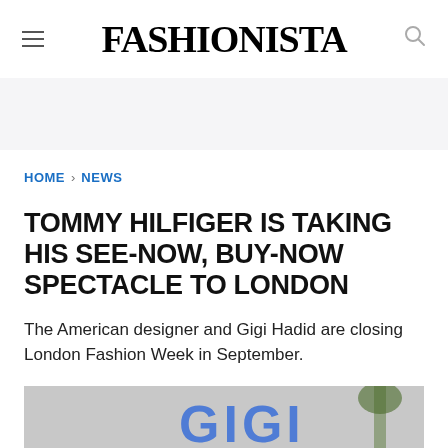FASHIONISTA
HOME > NEWS
TOMMY HILFIGER IS TAKING HIS SEE-NOW, BUY-NOW SPECTACLE TO LONDON
The American designer and Gigi Hadid are closing London Fashion Week in September.
MARIA BOBILA • JUN 1, 2017
[Figure (other): Social share icons: Facebook, Twitter, Pinterest]
[Figure (photo): Partial photo of a GIGI-branded display with a palm tree visible]